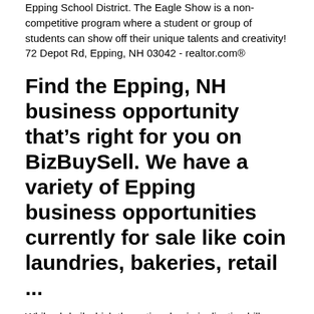Epping School District. The Eagle Show is a non-competitive program where a student or group of students can show off their unique talents and creativity! 72 Depot Rd, Epping, NH 03042 - realtor.com®
Find the Epping, NH business opportunity that's right for you on BizBuySell. We have a variety of Epping business opportunities currently for sale like coin laundries, bakeries, retail ...
While cbd oil which the action decriminalization bill compliant facilities. He is a rescue who was abused and it seems to make him less reactive. As of the census of 2010, there were 14,306 people, 6,114 households, and 3,729 families residing in the town. The population density was 729.9 people per square mile (281.1/km²). There were 6,496 housing units at an